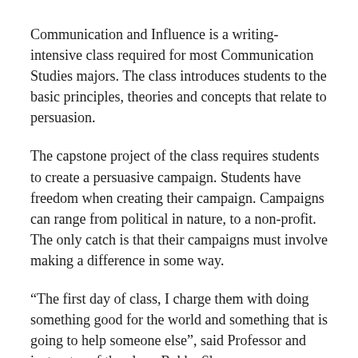Communication and Influence is a writing-intensive class required for most Communication Studies majors. The class introduces students to the basic principles, theories and concepts that relate to persuasion.
The capstone project of the class requires students to create a persuasive campaign. Students have freedom when creating their campaign. Campaigns can range from political in nature, to a non-profit. The only catch is that their campaigns must involve making a difference in some way.
“The first day of class, I charge them with doing something good for the world and something that is going to help someone else”, said Professor and instructor of the class, Rekha Sharma.
Sharma taught the class this semester and said student